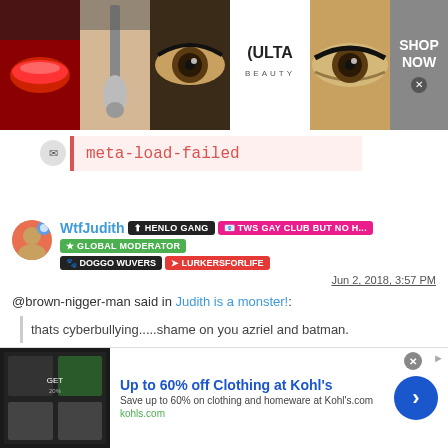[Figure (screenshot): Ulta Beauty banner advertisement with makeup/beauty images and SHOP NOW button]
meta-load-failed
[Figure (screenshot): Forum post by WtfJudith with badges: HENLO GANG, TWS GAY CLUB BUT NO H..., GLOBAL MODERATOR, DOGGO WUVERS, LURKERSFORLIFE]
Jun 2, 2018, 3:57 PM
@brown-nigger-man said in Judith is a monster!:
thats cyberbullying.....shame on you azriel and batman.
[Figure (screenshot): Kohl's advertisement: Up to 60% off Clothing at Kohl's. Save up to 60% on clothing and homeware at Kohl's.com. kohls.com]